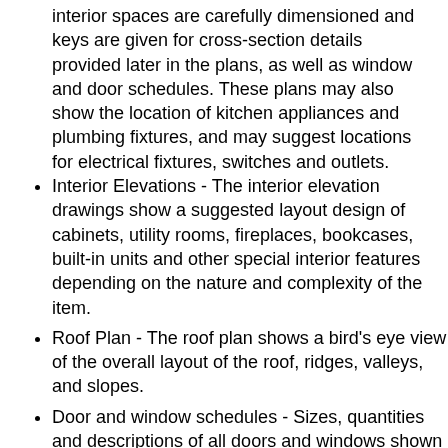interior spaces are carefully dimensioned and keys are given for cross-section details provided later in the plans, as well as window and door schedules. These plans may also show the location of kitchen appliances and plumbing fixtures, and may suggest locations for electrical fixtures, switches and outlets.
Interior Elevations - The interior elevation drawings show a suggested layout design of cabinets, utility rooms, fireplaces, bookcases, built-in units and other special interior features depending on the nature and complexity of the item.
Roof Plan - The roof plan shows a bird's eye view of the overall layout of the roof, ridges, valleys, and slopes.
Door and window schedules - Sizes, quantities and descriptions of all doors and windows shown on the plan.
Exterior Elevations - Included are front, rear, left and right sides of the house. Exterior materials, details and measurements are also given.
Cross-Section / Wall Section Details -